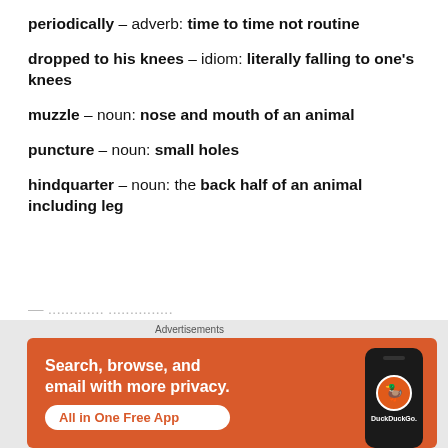periodically – adverb: time to time not routine
dropped to his knees – idiom: literally falling to one's knees
muzzle – noun: nose and mouth of an animal
puncture – noun: small holes
hindquarter – noun: the back half of an animal including leg
[Figure (infographic): DuckDuckGo advertisement banner: orange background with text 'Search, browse, and email with more privacy. All in One Free App' and a phone mockup showing the DuckDuckGo logo]
Advertisements